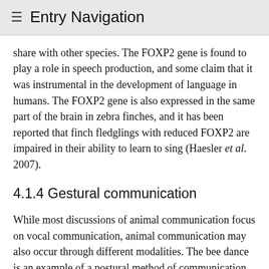≡ Entry Navigation
share with other species. The FOXP2 gene is found to play a role in speech production, and some claim that it was instrumental in the development of language in humans. The FOXP2 gene is also expressed in the same part of the brain in zebra finches, and it has been reported that finch fledglings with reduced FOXP2 are impaired in their ability to learn to sing (Haesler et al. 2007).
4.1.4 Gestural communication
While most discussions of animal communication focus on vocal communication, animal communication may also occur through different modalities. The bee dance is an example of a postural method of communication. Great apes communicate using gestures, such as pantomime (Russon & Andrews 2011). The idea that human language evolved from body movements such as gesture, miming, and dance has been promoted by Michael Corballis (1992, 2002) and Merlin Donald (1991) as the gestural theory of language acquisition. Because for primates bodily movement is under voluntary cortical control to a greater